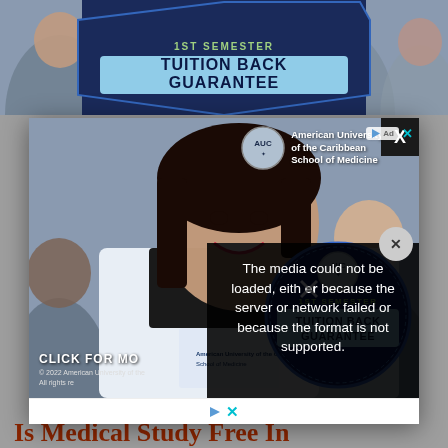[Figure (photo): Partial view of a medical school advertisement banner showing students in white coats with text '1ST SEMESTER TUITION BACK GUARANTEE' on a blue circular badge]
[Figure (photo): Modal popup showing American University of the Caribbean School of Medicine advertisement. Features a smiling female medical student in white coat, AUC logo and name top-right, a circular blue badge reading '1ST SEMESTER TUITION BACK GUARANTEE', text 'CLICK FOR MORE' and copyright line '© 2022 American University of the Caribbean School of Medicine. All rights reserved.' Ad icons (triangle play and X) in top corner. A video error overlay reads: 'The media could not be loaded, either because the server or network failed or because the format is not supported.']
Is Medical Study Free In